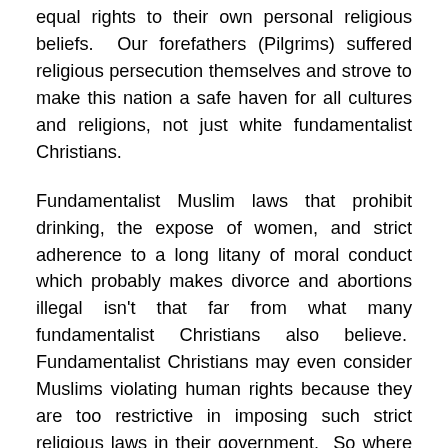equal rights to their own personal religious beliefs.  Our forefathers (Pilgrims) suffered religious persecution themselves and strove to make this nation a safe haven for all cultures and religions, not just white fundamentalist Christians.
Fundamentalist Muslim laws that prohibit drinking, the expose of women, and strict adherence to a long litany of moral conduct which probably makes divorce and abortions illegal isn't that far from what many fundamentalist Christians also believe.  Fundamentalist Christians may even consider Muslims violating human rights because they are too restrictive in imposing such strict religious laws in their government.  So where lies the fundamental difference?  Where do you draw the line?  Those who believe that religious morality shouldn't be part